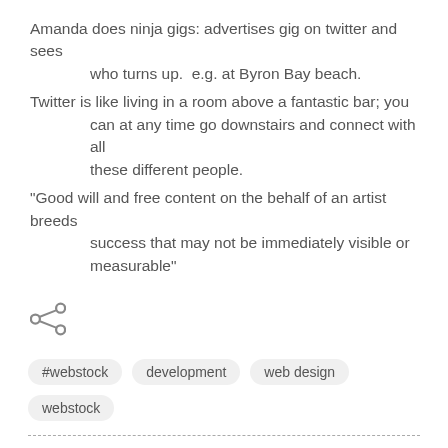Amanda does ninja gigs: advertises gig on twitter and sees who turns up.  e.g. at Byron Bay beach.
Twitter is like living in a room above a fantastic bar; you can at any time go downstairs and connect with all these different people.
"Good will and free content on the behalf of an artist breeds success that may not be immediately visible or measurable"
[Figure (illustration): Share icon (less-than symbol style social share icon)]
#webstock   development   web design   webstock
Simon C   February 18, 2011 at 12:48 PM
Nice overview!!
I know many places that could learn from this